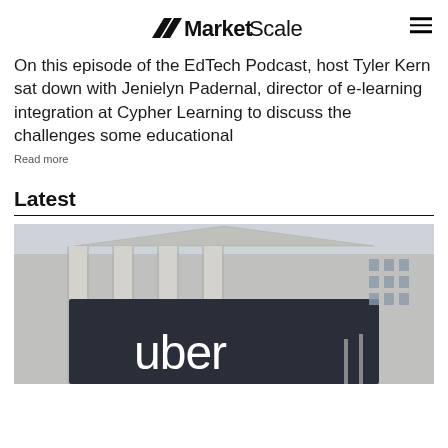MarketScale
On this episode of the EdTech Podcast, host Tyler Kern sat down with Jenielyn Padernal, director of e-learning integration at Cypher Learning to discuss the challenges some educational
Read more
Latest
[Figure (photo): Photo of a building with classical columns and an Uber branded sign/banner in the foreground, with flags visible. Appears to be the New York Stock Exchange.]